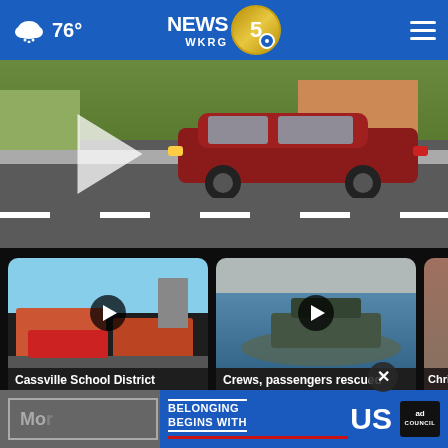76° NEWS 5 WKRG
[Figure (screenshot): Video thumbnail showing a red SUV on a road, with a play button overlay]
[Figure (screenshot): News card thumbnail: Cassville School District returning 'corporal...' - 2 days ago]
[Figure (screenshot): News card thumbnail: Crews, passengers rescued before yacht... - 20 hours ago]
[Figure (screenshot): Partially visible news card: Christ... Gray/W...]
Cassville School District returning "corporal...
2 days ago
Crews, passengers rescued before yacht...
20 hours ago
Chri... Gray/V...
Mo...
[Figure (infographic): Ad banner: BELONGING BEGINS WITH US - Ad Council logo]